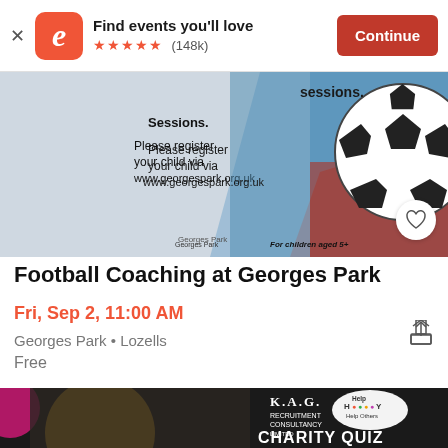[Figure (screenshot): Eventbrite app banner at top with logo, 'Find events you'll love', 5 star rating, (148k) reviews, and orange Continue button]
[Figure (photo): Football coaching event banner image showing a soccer ball and text about registering child at www.georgespark.org.uk, for children aged 5+]
Football Coaching at Georges Park
Fri, Sep 2, 11:00 AM
Georges Park • Lozells
Free
[Figure (photo): Bottom advertisement for K.A.G. Recruitment Consultancy charity quiz with Help Happy Help Others logo, showing a woman seated in a yellow chair]